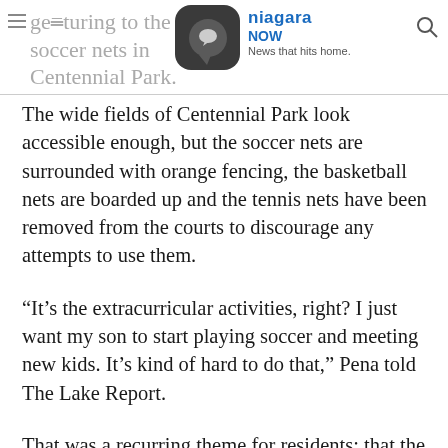gesturing to the fenced soccer nets in Centennial Park. [NiagaraNow logo] News that hits home.
The wide fields of Centennial Park look accessible enough, but the soccer nets are surrounded with orange fencing, the basketball nets are boarded up and the tennis nets have been removed from the courts to discourage any attempts to use them.
“It’s the extracurricular activities, right? I just want my son to start playing soccer and meeting new kids. It’s kind of hard to do that,” Pena told The Lake Report.
That was a recurring theme for residents: that the lockdown does not necessarily need to go hand in hand with the closure of outdoor